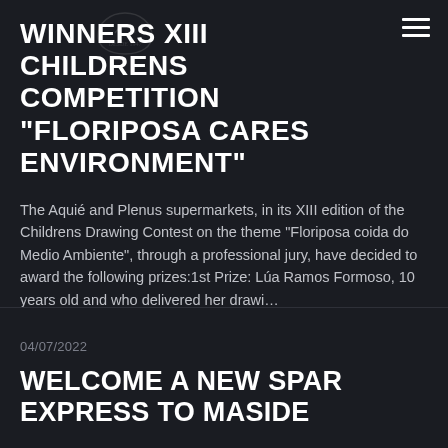WINNERS XIII CHILDRENS COMPETITION "FLORIPOSA CARES ENVIRONMENT"
The Aquié and Plenus supermarkets, in its XIII edition of the Childrens Drawing Contest on the theme "Floriposa coida do Medio Ambiente", through a professional jury, have decided to award the following prizes:1st Prize: Lúa Ramos Formoso, 10 years old and who delivered her drawi…
04/07/2022
WELCOME A NEW SPAR EXPRESS TO MASIDE